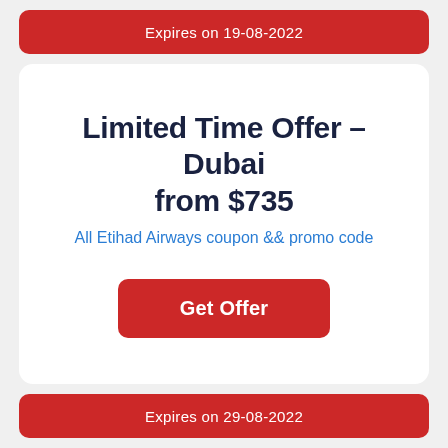Expires on 19-08-2022
Limited Time Offer – Dubai from $735
All Etihad Airways coupon && promo code
Get Offer
Expires on 29-08-2022